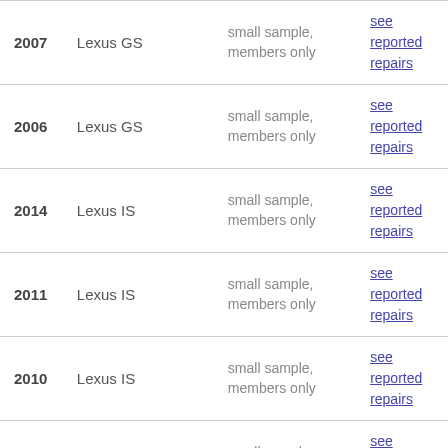| Year | Model | Sample | Link |
| --- | --- | --- | --- |
| 2007 | Lexus GS | small sample, members only | see reported repairs |
| 2006 | Lexus GS | small sample, members only | see reported repairs |
| 2014 | Lexus IS | small sample, members only | see reported repairs |
| 2011 | Lexus IS | small sample, members only | see reported repairs |
| 2010 | Lexus IS | small sample, members only | see reported repairs |
| 2008 | Lexus IS | small sample, members only | see reported repairs |
| 2007 | Lexus IS | small sample, members only | see reported repairs |
| 2006 | Lexus IS | small sample, members only | see reported repairs |
|  |  | small sample, | see |